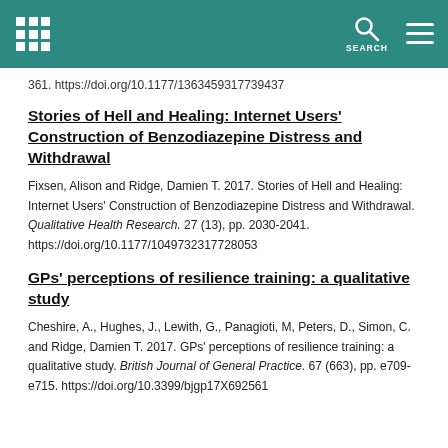SEARCH
361. https://doi.org/10.1177/1363459317739437
Stories of Hell and Healing: Internet Users' Construction of Benzodiazepine Distress and Withdrawal
Fixsen, Alison and Ridge, Damien T. 2017. Stories of Hell and Healing: Internet Users' Construction of Benzodiazepine Distress and Withdrawal. Qualitative Health Research. 27 (13), pp. 2030-2041. https://doi.org/10.1177/1049732317728053
GPs' perceptions of resilience training: a qualitative study
Cheshire, A., Hughes, J., Lewith, G., Panagioti, M, Peters, D., Simon, C. and Ridge, Damien T. 2017. GPs' perceptions of resilience training: a qualitative study. British Journal of General Practice. 67 (663), pp. e709-e715. https://doi.org/10.3399/bjgp17X692561